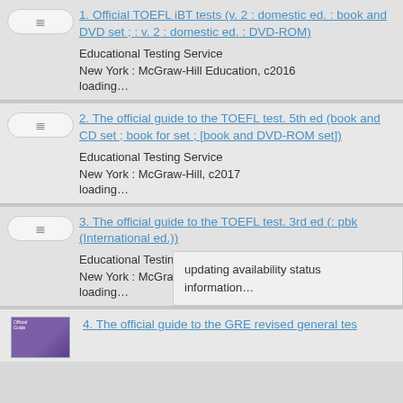1. Official TOEFL iBT tests (v. 2 : domestic ed. : book and DVD set ; : v. 2 : domestic ed. : DVD-ROM)
Educational Testing Service
New York : McGraw-Hill Education, c2016
loading...
2. The official guide to the TOEFL test. 5th ed (book and CD set ; book for set ; [book and DVD-ROM set])
Educational Testing Service
New York : McGraw-Hill, c2017
loading...
3. The official guide to the TOEFL test. 3rd ed (: pbk (International ed.))
Educational Testing Service
New York : McGraw-Hill, 2009
loading...
updating availability status information...
4. The official guide to the GRE revised general tes